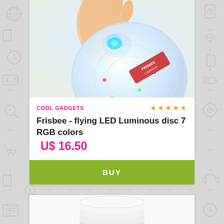[Figure (photo): A hand holding a glowing white LED frisbee disc with colorful RGB light pattern, photographed from above against a light background]
COOL GADGETS
★★★★★
Frisbee - flying LED Luminous disc 7 RGB colors
U$ 16.50
BUY
[Figure (photo): Partial view of stacked white LED frisbee discs at the bottom of the page, partially cut off]